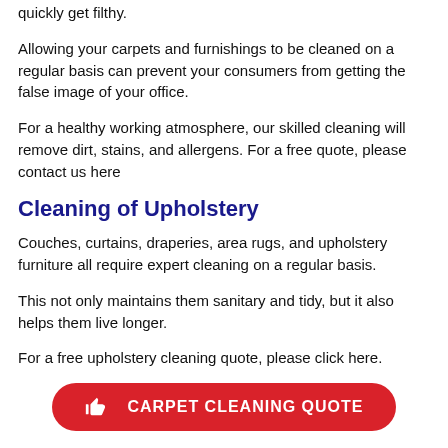quickly get filthy.
Allowing your carpets and furnishings to be cleaned on a regular basis can prevent your consumers from getting the false image of your office.
For a healthy working atmosphere, our skilled cleaning will remove dirt, stains, and allergens. For a free quote, please contact us here
Cleaning of Upholstery
Couches, curtains, draperies, area rugs, and upholstery furniture all require expert cleaning on a regular basis.
This not only maintains them sanitary and tidy, but it also helps them live longer.
For a free upholstery cleaning quote, please click here.
[Figure (other): Red rounded button with thumbs-up icon and text CARPET CLEANING QUOTE]